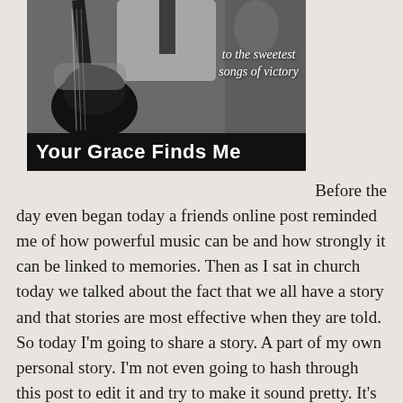[Figure (photo): Black and white photo of a person playing acoustic guitar, with italic white text overlay reading 'to the sweetest songs of victory', and a black title bar at bottom reading 'Your Grace Finds Me' in bold white text]
Before the day even began today a friends online post reminded me of how powerful music can be and how strongly it can be linked to memories. Then as I sat in church today we talked about the fact that we all have a story and that stories are most effective when they are told. So today I'm going to share a story. A part of my own personal story. I'm not even going to hash through this post to edit it and try to make it sound pretty. It's just going to be real, honest and a bit of my heart. So beware, it will more than likely be grammatically